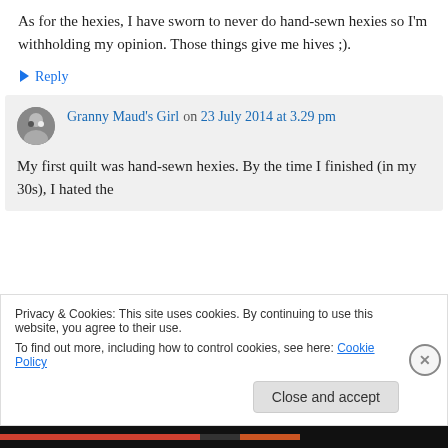As for the hexies, I have sworn to never do hand-sewn hexies so I'm withholding my opinion. Those things give me hives ;).
↳ Reply
Granny Maud's Girl on 23 July 2014 at 3.29 pm
My first quilt was hand-sewn hexies. By the time I finished (in my 30s), I hated the
Privacy & Cookies: This site uses cookies. By continuing to use this website, you agree to their use.
To find out more, including how to control cookies, see here: Cookie Policy
Close and accept